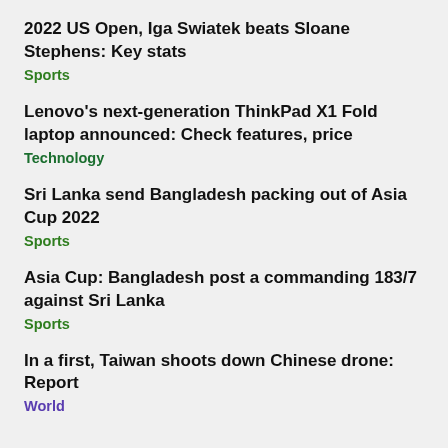2022 US Open, Iga Swiatek beats Sloane Stephens: Key stats
Sports
Lenovo's next-generation ThinkPad X1 Fold laptop announced: Check features, price
Technology
Sri Lanka send Bangladesh packing out of Asia Cup 2022
Sports
Asia Cup: Bangladesh post a commanding 183/7 against Sri Lanka
Sports
In a first, Taiwan shoots down Chinese drone: Report
World
Must News Articles